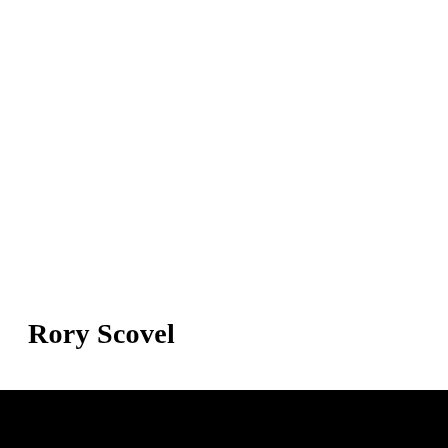Rory Scovel
[Figure (other): Black rectangular bar spanning the full width at the bottom of the page]